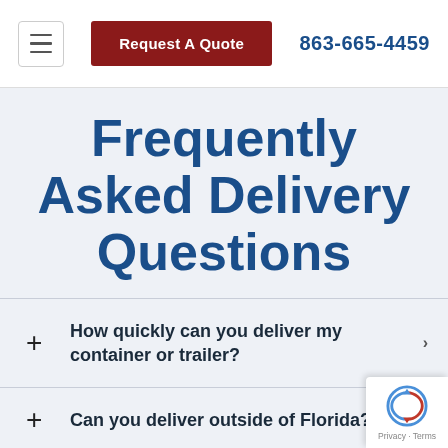≡  Request A Quote  863-665-4459
Frequently Asked Delivery Questions
How quickly can you deliver my container or trailer?
Can you deliver outside of Florida?